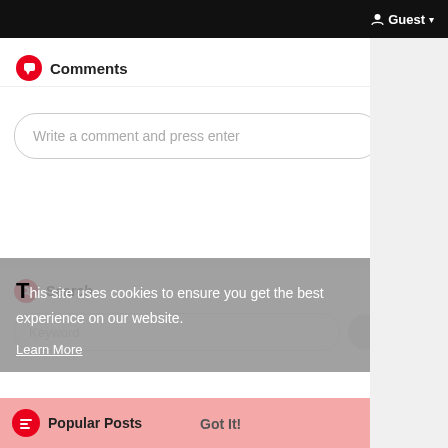Guest
Comments
Write a comment and press enter
This site uses cookies to ensure you get the best experience on our website.
Learn More
Search
Keyword
Popular Posts
Got It!